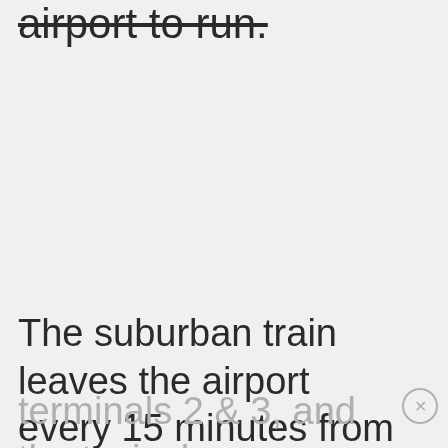airport to run.
The suburban train leaves the airport every 15 minutes from
terminals 2 & 3, and the typical